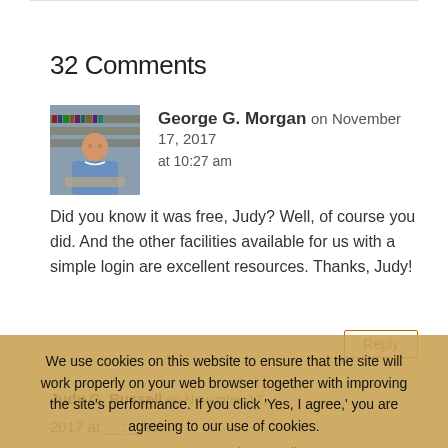32 Comments
George G. Morgan on November 17, 2017 at 10:27 am
Did you know it was free, Judy? Well, of course you did. And the other facilities available for us with a simple login are excellent resources. Thanks, Judy!
Reply
We use cookies on this website to ensure that the site will work properly on your web browser together with improving the site's performance. If you click 'Yes, I agree,' you are agreeing to our use of cookies.
Yes, I agree   Privacy Policy
Judy G. Russell on November 17, 2017 at
It's free, George? Really? What a surprise